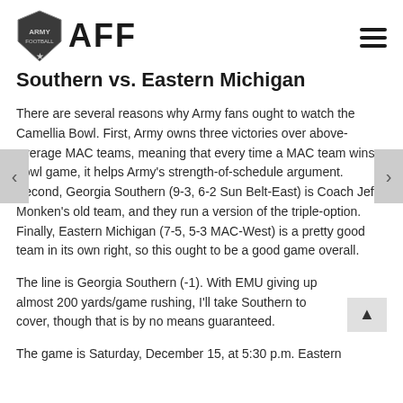AFF
Southern vs. Eastern Michigan
There are several reasons why Army fans ought to watch the Camellia Bowl. First, Army owns three victories over above-average MAC teams, meaning that every time a MAC team wins a bowl game, it helps Army's strength-of-schedule argument. Second, Georgia Southern (9-3, 6-2 Sun Belt-East) is Coach Jeff Monken's old team, and they run a version of the triple-option. Finally, Eastern Michigan (7-5, 5-3 MAC-West) is a pretty good team in its own right, so this ought to be a good game overall.
The line is Georgia Southern (-1).  With EMU giving up almost 200 yards/game rushing, I'll take Southern to cover, though that is by no means guaranteed.
The game is Saturday, December 15, at 5:30 p.m. Eastern